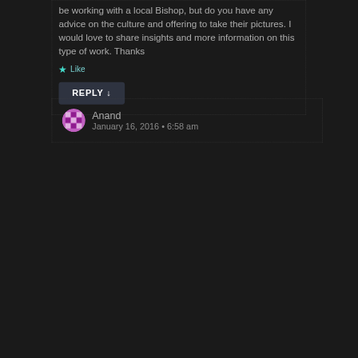be working with a local Bishop, but do you have any advice on the culture and offering to take their pictures. I would love to share insights and more information on this type of work. Thanks
★ Like
REPLY ↓
Anand
January 16, 2016 • 6:58 am